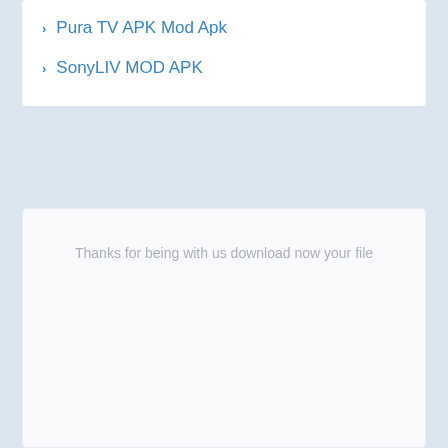Pura TV APK Mod Apk
SonyLIV MOD APK
Thanks for being with us download now your file